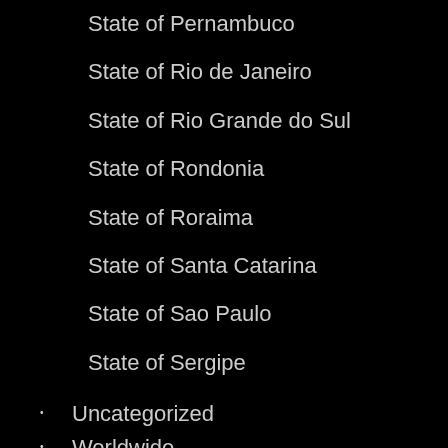State of Pernambuco
State of Rio de Janeiro
State of Rio Grande do Sul
State of Rondonia
State of Roraima
State of Santa Catarina
State of Sao Paulo
State of Sergipe
Uncategorized
Worldwide